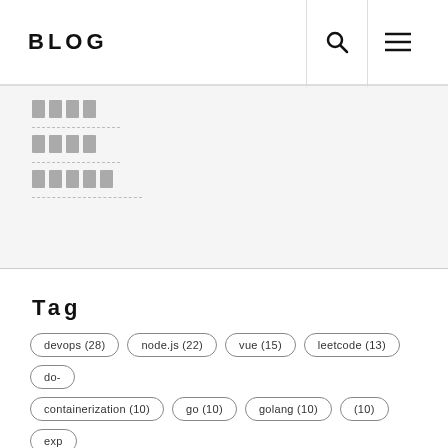BLOG
□□□□
□□□□
□□□□□
Tag
devops (28) node.js (22) vue (15) leetcode (13) do- containerization (10) go (10) golang (10) (10) exp cicd (8) leetcode-easy (8) gcp (7) laravel (7) doc vuex (6) composer (5) element-ui (5) leetcode-mediu jenkins (4) cloudflare (3) mongodb (3) mutation (3)